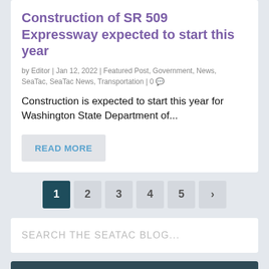Construction of SR 509 Expressway expected to start this year
by Editor | Jan 12, 2022 | Featured Post, Government, News, SeaTac, SeaTac News, Transportation | 0
Construction is expected to start this year for Washington State Department of...
READ MORE
1 2 3 4 5 >
SEARCH THE SEATAC BLOG...
SUPPORT OUR SPONSORS